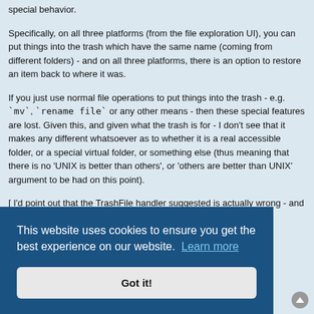special behavior.
Specifically, on all three platforms (from the file exploration UI), you can put things into the trash which have the same name (coming from different folders) - and on all three platforms, there is an option to restore an item back to where it was.
If you just use normal file operations to put things into the trash - e.g. `mv`, `rename file` or any other means - then these special features are lost. Given this, and given what the trash is for - I don't see that it makes any different whatsoever as to whether it is a real accessible folder, or a special virtual folder, or something else (thus meaning that there is no 'UNIX is better than others', or 'others are better than UNIX' argument to be had on this point).
[ I'd point out that the TrashFile handler suggested is actually wrong - and ... r the ... ame in ... options. ... h` - ... API
[Figure (screenshot): Cookie consent banner overlay with dark blue background. Text reads 'This website uses cookies to ensure you get the best experience on our website. Learn more' with a 'Got it!' button below.]